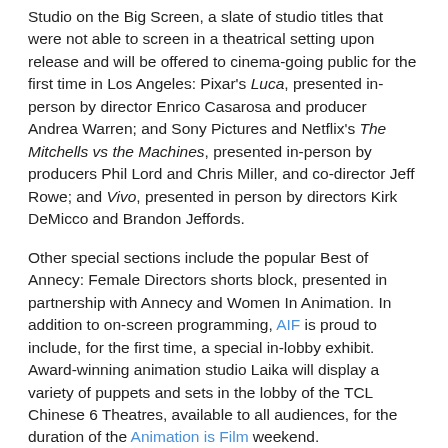Studio on the Big Screen, a slate of studio titles that were not able to screen in a theatrical setting upon release and will be offered to cinema-going public for the first time in Los Angeles: Pixar's Luca, presented in-person by director Enrico Casarosa and producer Andrea Warren; and Sony Pictures and Netflix's The Mitchells vs the Machines, presented in-person by producers Phil Lord and Chris Miller, and co-director Jeff Rowe; and Vivo, presented in person by directors Kirk DeMicco and Brandon Jeffords.
Other special sections include the popular Best of Annecy: Female Directors shorts block, presented in partnership with Annecy and Women In Animation. In addition to on-screen programming, AIF is proud to include, for the first time, a special in-lobby exhibit. Award-winning animation studio Laika will display a variety of puppets and sets in the lobby of the TCL Chinese 6 Theatres, available to all audiences, for the duration of the Animation is Film weekend.
Said Marcel Jean, Artistic Director, Annecy International Animation Film Festival, "Animation is back in Los Angeles and that's excellent news! As one of the festival's co-founders, we are thrilled to present the fourth edition of...